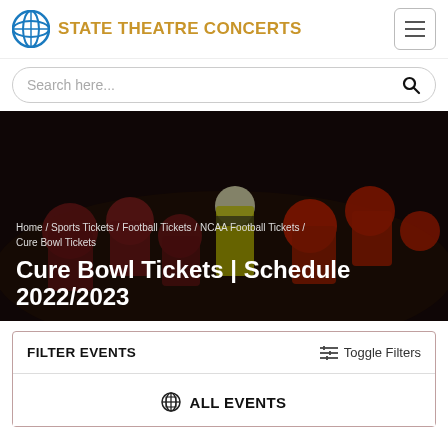STATE THEATRE CONCERTS
Search here...
[Figure (photo): Football players in maroon and red helmets facing off at the line of scrimmage with a referee in yellow behind them, dark background]
Home / Sports Tickets / Football Tickets / NCAA Football Tickets / Cure Bowl Tickets
Cure Bowl Tickets | Schedule 2022/2023
FILTER EVENTS
Toggle Filters
ALL EVENTS